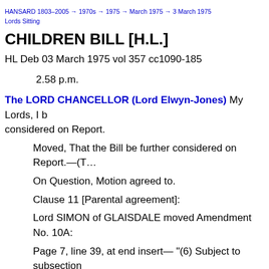HANSARD 1803–2005 → 1970s → 1975 → March 1975 → 3 March 1975
Lords Sitting
CHILDREN BILL [H.L.]
HL Deb 03 March 1975 vol 357 cc1090-185
2.58 p.m.
The LORD CHANCELLOR (Lord Elwyn-Jones) My Lords, I b… considered on Report.
Moved, That the Bill be further considered on Report.—(T…
On Question, Motion agreed to.
Clause 11 [Parental agreement]:
Lord SIMON of GLAISDALE moved Amendment No. 10A:
Page 7, line 39, at end insert— "(6) Subject to subsection… agreed to the making of an adoption order under subsecti… purpose; of subsection (2)(b), to be withholding his agre…